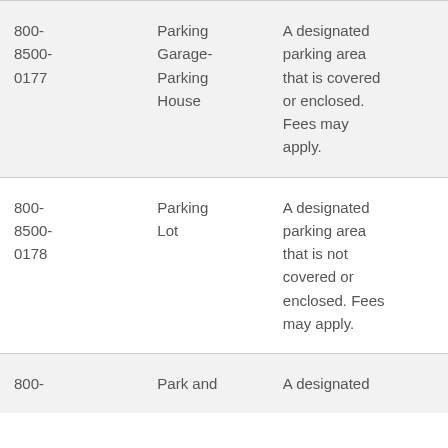| 800-8500-0177 | Parking Garage- Parking House | A designated parking area that is covered or enclosed. Fees may apply. |
| 800-8500-0178 | Parking Lot | A designated parking area that is not covered or enclosed. Fees may apply. |
| 800- | Park and | A designated |